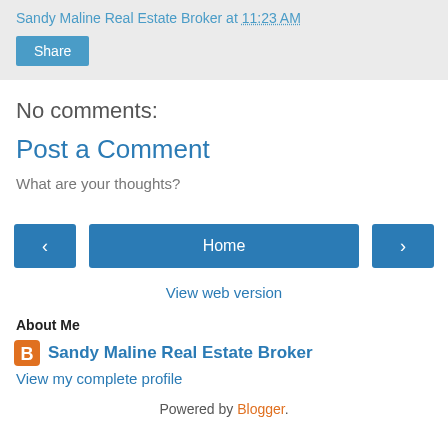Sandy Maline Real Estate Broker at 11:23 AM
Share
No comments:
Post a Comment
What are your thoughts?
‹ Home ›
View web version
About Me
Sandy Maline Real Estate Broker
View my complete profile
Powered by Blogger.